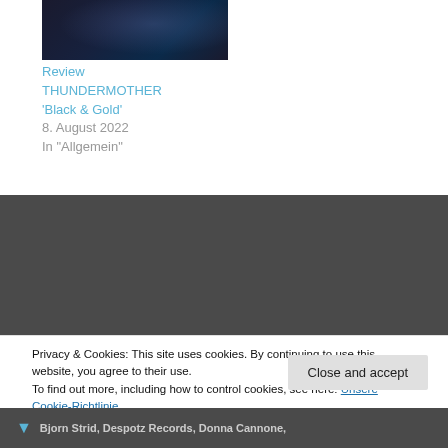[Figure (photo): Dark thumbnail image with blue tones, appears to be an album or band photo]
Review
THUNDERMOTHER
'Black & Gold'
8. August 2022
In "Allgemein"
Published by mwie68
View all posts by mwie68
Privacy & Cookies: This site uses cookies. By continuing to use this website, you agree to their use.
To find out more, including how to control cookies, see here: Unsere Cookie-Richtlinie
Close and accept
Bjorn Strid, Despotz Records, Donna Cannone, Hard Rock, Melodic Rock, Rock, Sailou...